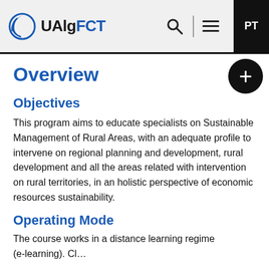UAlgFCT
Overview
Objectives
This program aims to educate specialists on Sustainable Management of Rural Areas, with an adequate profile to intervene on regional planning and development, rural development and all the areas related with intervention on rural territories, in an holistic perspective of economic resources sustainability.
Operating Mode
The course works in a distance learning regime (e-learning). Cl...